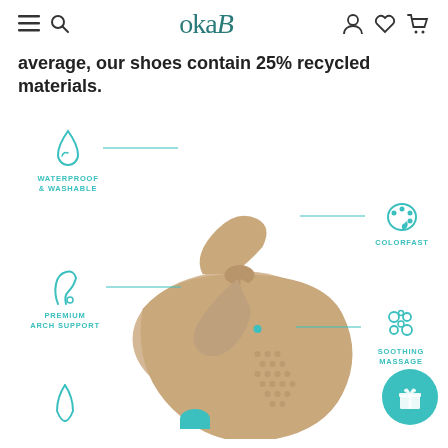oka-B navigation header with menu, search, account, wishlist, cart icons
average, our shoes contain 25% recycled materials.
[Figure (infographic): Tan/nude flip-flop sandal with teal feature callout labels: WATERPROOF & WASHABLE (drop icon, left), COLORFAST (palette icon, right), PREMIUM ARCH SUPPORT (foot arch icon, left), SOOTHING MASSAGE (bubbles icon, right), and two more partially visible at bottom. Teal gift circle button bottom right.]